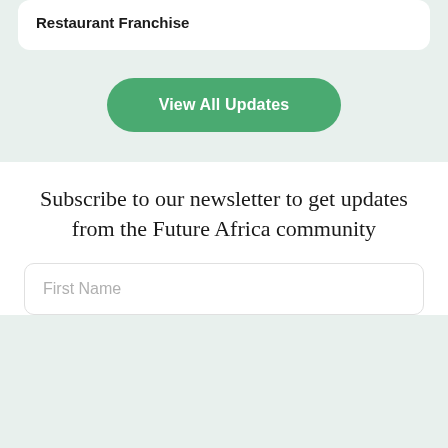Restaurant Franchise
View All Updates
Subscribe to our newsletter to get updates from the Future Africa community
First Name